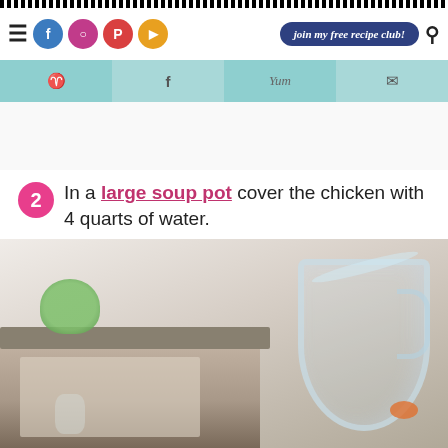recipe blog navigation header with hamburger menu, social icons (Facebook, Instagram, Pinterest, YouTube), join my free recipe club! button, and search icon
Share bar with Pinterest, Facebook, Yum, and email icons
In a large soup pot cover the chicken with 4 quarts of water.
[Figure (photo): Photo of water being poured from a glass pitcher into a large white soup pot, with green herbs and vegetables visible in the background]